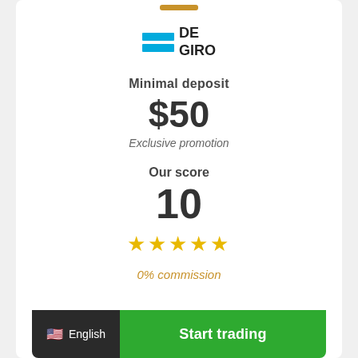[Figure (logo): DEGIRO broker logo with two blue horizontal bars and text DE GIRO]
Minimal deposit
$50
Exclusive promotion
Our score
10
★★★★★
0% commission
🇺🇸 English
Start trading